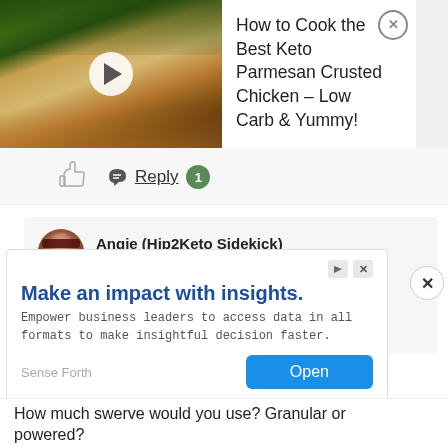[Figure (photo): Video thumbnail of keto parmesan crusted chicken with broccoli, with a play button overlay]
How to Cook the Best Keto Parmesan Crusted Chicken – Low Carb & Yummy!
Reply 1
[Figure (photo): Avatar photo of Angie (Hip2Keto Sidekick)]
Angie (Hip2Keto Sidekick)
July 14, 2020 at 5:58 pm MST
You are so very welcome Denise ❤
Reply
Make an impact with insights.
Empower business leaders to access data in all formats to make insightful decision faster.
Sense Forth
Open
How much swerve would you use? Granular or powered?